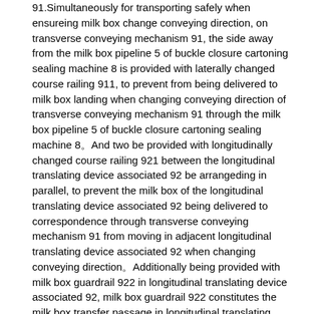91.Simultaneously for transporting safely when ensureing milk box change conveying direction, on transverse conveying mechanism 91, the side away from the milk box pipeline 5 of buckle closure cartoning sealing machine 8 is provided with laterally changed course railing 911, to prevent from being delivered to milk box landing when changing conveying direction of transverse conveying mechanism 91 through the milk box pipeline 5 of buckle closure cartoning sealing machine 8。And two be provided with longitudinally changed course railing 921 between the longitudinal translating device associated 92 be arrangeding in parallel, to prevent the milk box of the longitudinal translating device associated 92 being delivered to correspondence through transverse conveying mechanism 91 from moving in adjacent longitudinal translating device associated 92 when changing conveying direction。Additionally being provided with milk box guardrail 922 in longitudinal translating device associated 92, milk box guardrail 922 constitutes the milk box transfer passage in longitudinal translating device associated 92 with longitudinally changed course railing 921.
Secondary aseptic bag milk bag gift box boxing system of